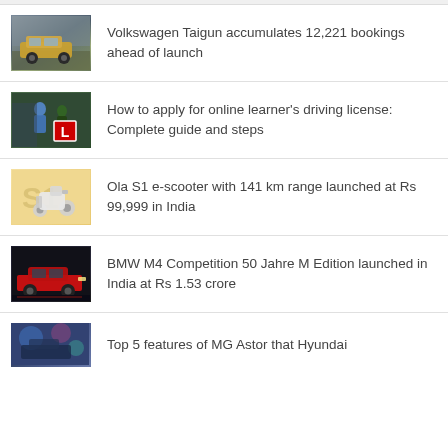Volkswagen Taigun accumulates 12,221 bookings ahead of launch
How to apply for online learner's driving license: Complete guide and steps
Ola S1 e-scooter with 141 km range launched at Rs 99,999 in India
BMW M4 Competition 50 Jahre M Edition launched in India at Rs 1.53 crore
Top 5 features of MG Astor that Hyundai